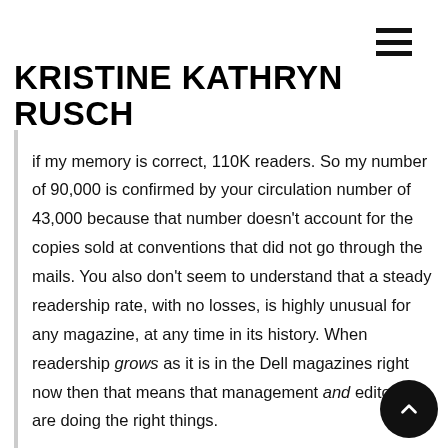KRISTINE KATHRYN RUSCH
if my memory is correct, 110K readers. So my number of 90,000 is confirmed by your circulation number of 43,000 because that number doesn't account for the copies sold at conventions that did not go through the mails. You also don't seem to understand that a steady readership rate, with no losses, is highly unusual for any magazine, at any time in its history. When readership grows as it is in the Dell magazines right now then that means that management and editorial are doing the right things.